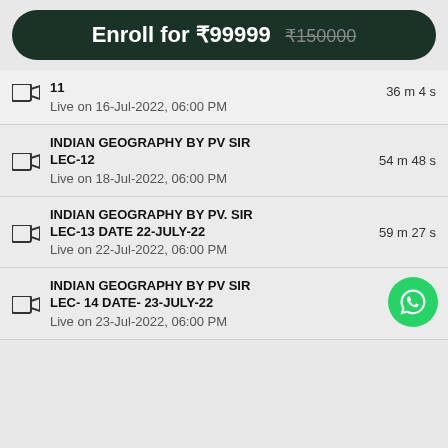Enroll for ₹99999 ₹150000
11 | 36 m 4 s | Live on 16-Jul-2022, 06:00 PM
INDIAN GEOGRAPHY BY PV SIR LEC-12 | 54 m 48 s | Live on 18-Jul-2022, 06:00 PM
INDIAN GEOGRAPHY BY PV. SIR LEC-13 DATE 22-JULY-22 | 59 m 27 s | Live on 22-Jul-2022, 06:00 PM
INDIAN GEOGRAPHY BY PV SIR LEC- 14 DATE- 23-JULY-22 | 1 h s | Live on 23-Jul-2022, 06:00 PM